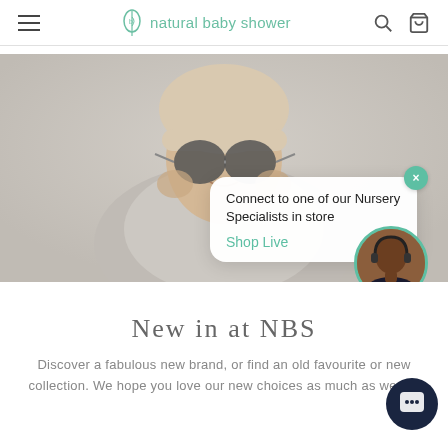natural baby shower — navigation header with menu, logo, search, and cart icons
[Figure (photo): Hero banner image of a child wearing a beige knit hat and round sunglasses, holding sunglasses up to their face, with a chat popup overlay reading 'Connect to one of our Nursery Specialists in store' and 'Shop Live', plus a customer service agent avatar]
New in at NBS
Discover a fabulous new brand, or find an old favourite or new collection. We hope you love our new choices as much as we do.